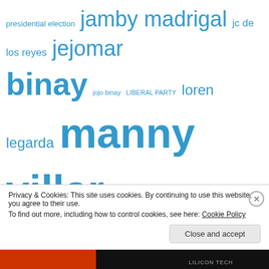[Figure (infographic): Tag cloud with Philippine election related terms in various sizes in blue color: presidential election, jamby madrigal, jc de los reyes, jejomar binay, jojo binay, LIBERAL PARTY, loren legarda, manny villar, mar roxas, mindscape landmark, Nicanor Perlas, nicanor perlas for president, Nick Perlas, nick perlas for president, ninoy aquino, noynoy aquino, perlas for president, Perlas ng Silangan, philippine 2010, presidentiables, philippine advertising]
Privacy & Cookies: This site uses cookies. By continuing to use this website, you agree to their use. To find out more, including how to control cookies, see here: Cookie Policy
Close and accept